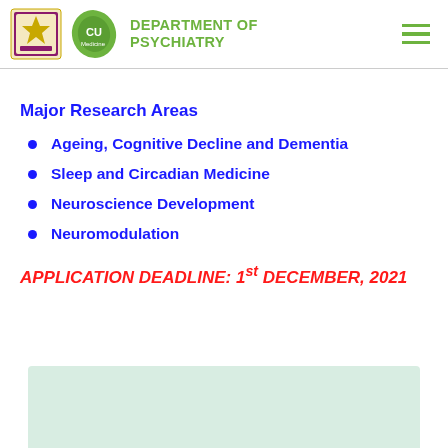Department of Psychiatry
Major Research Areas
Ageing, Cognitive Decline and Dementia
Sleep and Circadian Medicine
Neuroscience Development
Neuromodulation
APPLICATION DEADLINE: 1st DECEMBER, 2021
[Figure (other): Light green/teal rectangular panel at the bottom of the page]